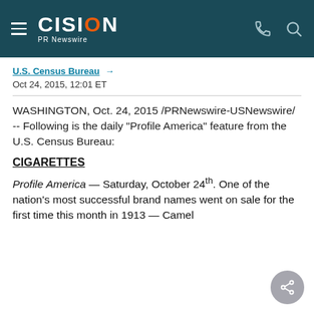CISION PR Newswire
U.S. Census Bureau →
Oct 24, 2015, 12:01 ET
WASHINGTON, Oct. 24, 2015 /PRNewswire-USNewswire/ -- Following is the daily "Profile America" feature from the U.S. Census Bureau:
CIGARETTES
Profile America — Saturday, October 24th. One of the nation's most successful brand names went on sale for the first time this month in 1913 — Camel cigarettes, the first...